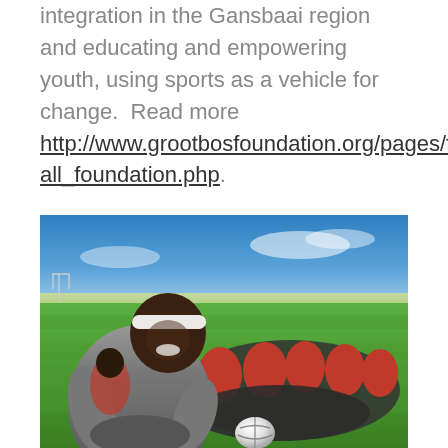integration in the Gansbaai region and educating and empowering youth, using sports as a vehicle for change.  Read more http://www.grootbosfoundation.org/pages/football_foundation.php.
[Figure (photo): Group of young people in red sports jerseys sitting on a green football field. A smiling young man in a grey hoodie and white headband sits in the foreground. A football is visible on the grass in front of them. Blue sky and open field in the background.]